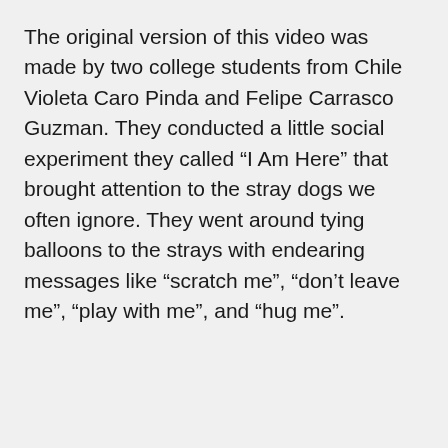The original version of this video was made by two college students from Chile Violeta Caro Pinda and Felipe Carrasco Guzman. They conducted a little social experiment they called “I Am Here” that brought attention to the stray dogs we often ignore. They went around tying balloons to the strays with endearing messages like “scratch me”, “don’t leave me”, “play with me”, and “hug me”.